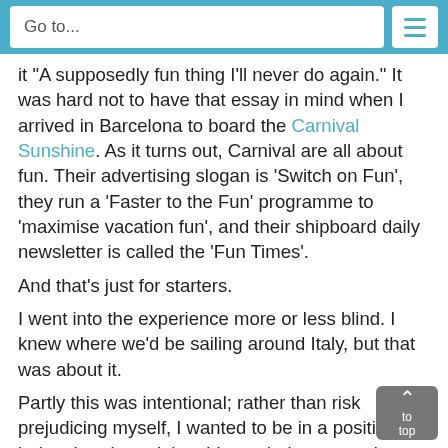Go to...
it “A supposedly fun thing I’ll never do again.” It was hard not to have that essay in mind when I arrived in Barcelona to board the Carnival Sunshine. As it turns out, Carnival are all about fun. Their advertising slogan is ‘Switch on Fun’, they run a ‘Faster to the Fun’ programme to ‘maximise vacation fun’, and their shipboard daily newsletter is called the ‘Fun Times’.
And that’s just for starters.
I went into the experience more or less blind. I knew where we’d be sailing around Italy, but that was about it.
Partly this was intentional; rather than risk prejudicing myself, I wanted to be in a position to judge the trip and the ship on their own merits. Not that the BBC made it easy by starting a series